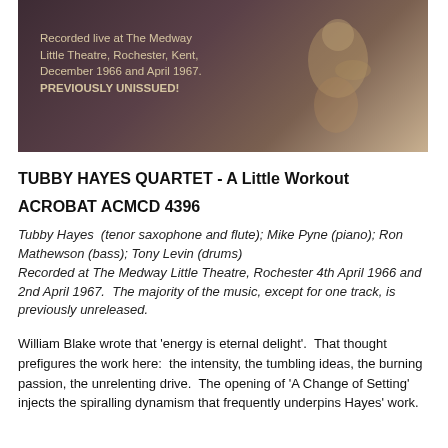[Figure (photo): Album cover image with dark brownish-purple background showing a musician playing. Text overlay reads: 'Recorded live at The Medway Little Theatre, Rochester, Kent, December 1966 and April 1967. PREVIOUSLY UNISSUED!']
TUBBY HAYES QUARTET - A Little Workout
ACROBAT ACMCD 4396
Tubby Hayes  (tenor saxophone and flute); Mike Pyne (piano); Ron Mathewson (bass); Tony Levin (drums)
Recorded at The Medway Little Theatre, Rochester 4th April 1966 and 2nd April 1967.  The majority of the music, except for one track, is previously unreleased.
William Blake wrote that 'energy is eternal delight'.  That thought prefigures the work here:  the intensity, the tumbling ideas, the burning passion, the unrelenting drive.  The opening of 'A Change of Setting' injects the spiralling dynamism that frequently underpins Hayes' work.